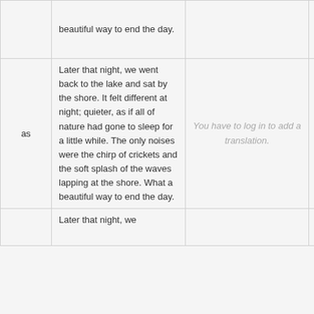|  | beautiful way to end the day. |  |  |
| as | Later that night, we went back to the lake and sat by the shore. It felt different at night; quieter, as if all of nature had gone to sleep for a little while. The only noises were the chirp of crickets and the soft splash of the waves lapping at the shore. What a beautiful way to end the day. | You have to log in to add a translation. | Details |
|  | Later that night, we |  |  |